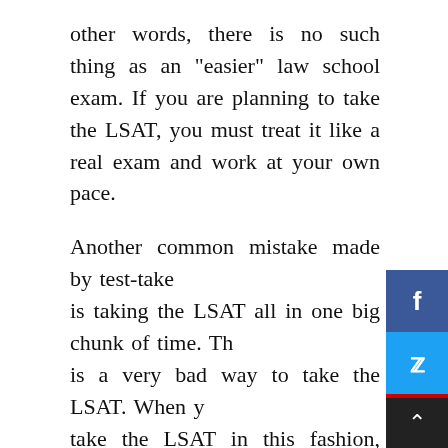other words, there is no such thing as an “easier” law school exam. If you are planning to take the LSAT, you must treat it like a real exam and work at your own pace.
Another common mistake made by test-takers is taking the LSAT all in one big chunk of time. This is a very bad way to take the LSAT. When you take the LSAT in this fashion, you force yourself to memorize everything in your study book and spend an enormous amount of time answering the same questions. This will not prepare you well for the complex concepts and key terms used on the LSAT. It is much better to break the exam down into smaller sections and take the easier questions first. In this way, you can better understand the concepts and key terms before spending an excessive amount of time on t